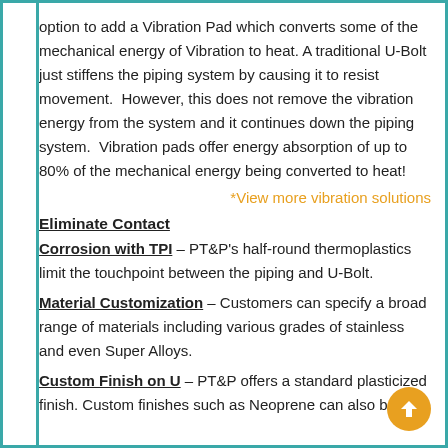option to add a Vibration Pad which converts some of the mechanical energy of Vibration to heat. A traditional U-Bolt just stiffens the piping system by causing it to resist movement.  However, this does not remove the vibration energy from the system and it continues down the piping system.  Vibration pads offer energy absorption of up to 80% of the mechanical energy being converted to heat!
*View more vibration solutions
Eliminate Contact
Corrosion with TPI – PT&P's half-round thermoplastics limit the touchpoint between the piping and U-Bolt.
Material Customization
Material Customization – Customers can specify a broad range of materials including various grades of stainless and even Super Alloys.
Custom Finish on U
Custom Finish on U – PT&P offers a standard plasticized finish. Custom finishes such as Neoprene can also be